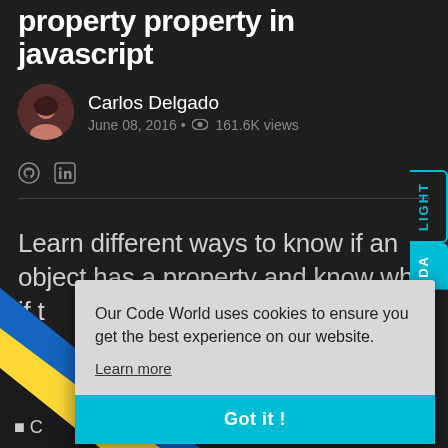property property in javascript
Carlos Delgado
June 08, 2016 • 161.6K views
Learn different ways to know if an object has a property and know whi if t...
[Figure (screenshot): Cookie consent modal overlay with text: Our Code World uses cookies to ensure you get the best experience on our website. Learn more link and Got it ! button in cyan.]
C